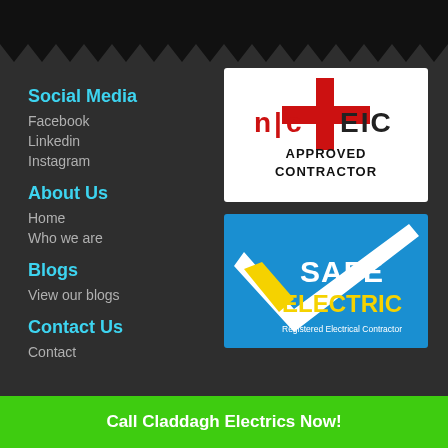Social Media
Facebook
Linkedin
Instagram
About Us
Home
Who we are
Blogs
View our blogs
Contact Us
Contact
[Figure (logo): NICEIC Approved Contractor logo - red and black text on white background]
[Figure (logo): Safe Electric Registered Electrical Contractor logo - blue background with white checkmark, yellow and white text]
Call Claddagh Electrics Now!